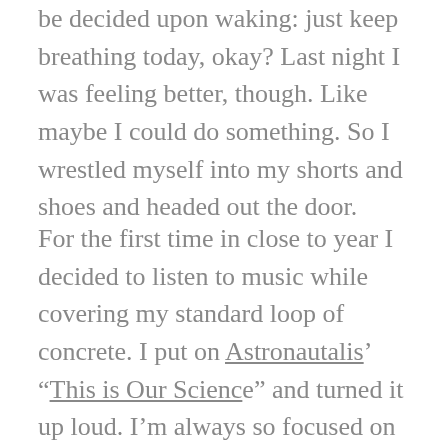be decided upon waking: just keep breathing today, okay? Last night I was feeling better, though. Like maybe I could do something. So I wrestled myself into my shorts and shoes and headed out the door.
For the first time in close to year I decided to listen to music while covering my standard loop of concrete. I put on Astronautalis' “This is Our Science” and turned it up loud. I’m always so focused on the sound of my breathing, my footsteps. Always fixated on making corrections. “Land lighter, breathe smoother. Pull your arms back, keep your chest up.” But his voice piped through my